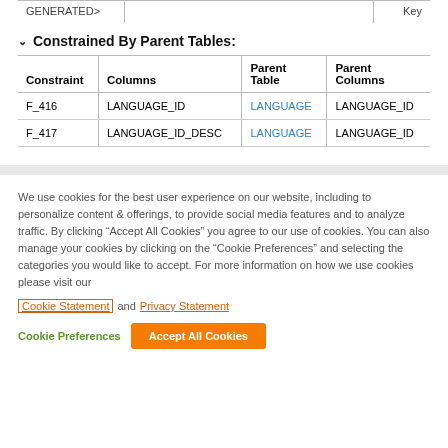|  | GENERATED> |  | Key |
| --- | --- | --- | --- |
Constrained By Parent Tables:
| Constraint | Columns | Parent Table | Parent Columns |
| --- | --- | --- | --- |
| F_416 | LANGUAGE_ID | LANGUAGE | LANGUAGE_ID |
| F_417 | LANGUAGE_ID_DESC | LANGUAGE | LANGUAGE_ID |
We use cookies for the best user experience on our website, including to personalize content & offerings, to provide social media features and to analyze traffic. By clicking “Accept All Cookies” you agree to our use of cookies. You can also manage your cookies by clicking on the “Cookie Preferences” and selecting the categories you would like to accept. For more information on how we use cookies please visit our Cookie Statement and  Privacy Statement
Cookie Preferences   Accept All Cookies